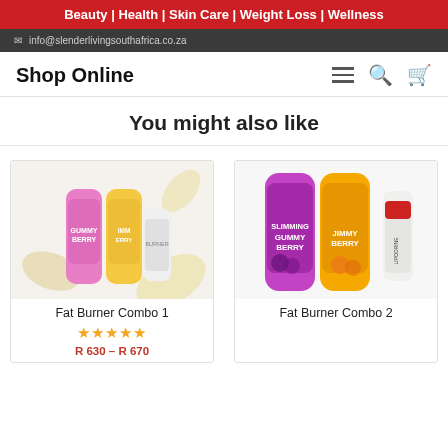Beauty | Health | Skin Care | Weight Loss | Wellness
info@slenderlivingsouthafrica.co.za
Shop Online
You might also like
[Figure (photo): Fat Burner Combo 1 product image showing Gummy Berry bottles]
Fat Burner Combo 1
★★★★★
R 630 – R 670
[Figure (photo): Fat Burner Combo 2 product image showing Gummy Berry and Lipodrine bottles]
Fat Burner Combo 2